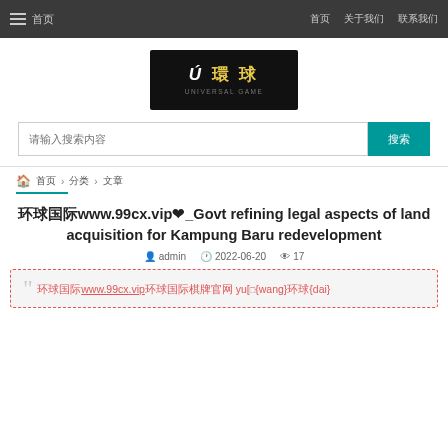☰ 首页   首页  关于我们  联系我们
[Figure (logo): U环球 UNIVERSAL GAME logo, black background with gold Chinese characters and white U letter]
请输入搜索内容
搜索
🏠 首页 › 分类 › 文章
环球国际www.99cx.vip❤_Govt refining legal aspects of land acquisition for Kampung Baru redevelopment
admin  2022-06-20  17
环球国际www.99cx.vip环球国际棋牌官网 yu[�{wang}环球{dai}